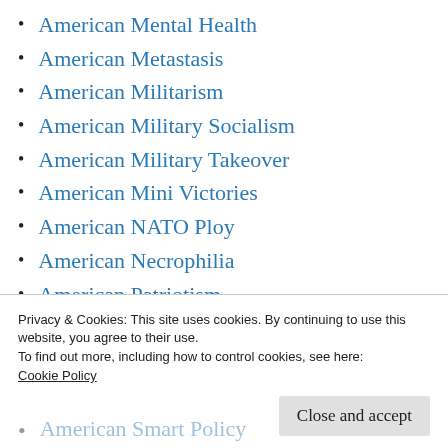American Mental Health
American Metastasis
American Militarism
American Military Socialism
American Military Takeover
American Mini Victories
American NATO Ploy
American Necrophilia
American Patriotism
American Permanent Wars
American Political Amnesia
Privacy & Cookies: This site uses cookies. By continuing to use this website, you agree to their use.
To find out more, including how to control cookies, see here: Cookie Policy
American Smart Policy